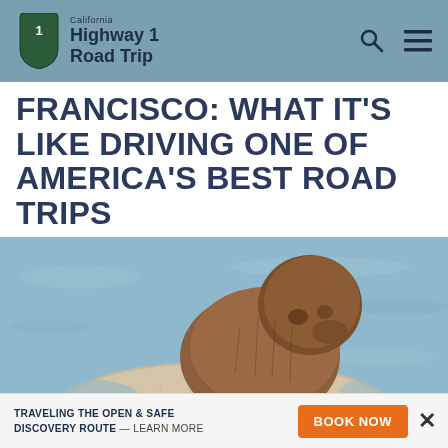California Highway 1 Road Trip
FRANCISCO: WHAT IT'S LIKE DRIVING ONE OF AMERICA'S BEST ROAD TRIPS
[Figure (photo): Close-up photo of a sea otter pup resting on top of an adult sea otter floating in blue water.]
TRAVELING THE OPEN & SAFE DISCOVERY ROUTE — LEARN MORE
BOOK NOW